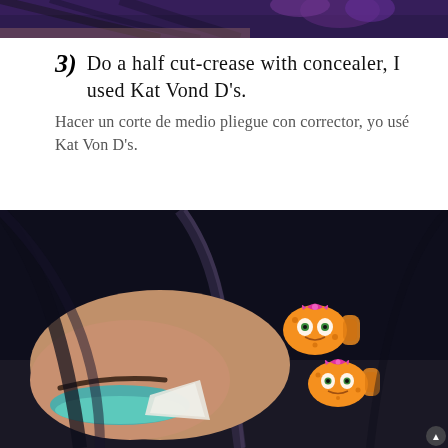[Figure (photo): Top portion of a photo showing a person with dark hair and purple/blue eye makeup, cropped at top of page]
3) Do a half cut-crease with concealer, I used Kat Vond D's.
Hacer un corte de medio pliegue con corrector, yo usé Kat Von D's.
[Figure (photo): Close-up photo of a person with dark hair wearing orange cartoon character hair clips (resembling Shopkins characters with pink bows), showing teal/blue half cut-crease eye makeup with white concealer, dark background]